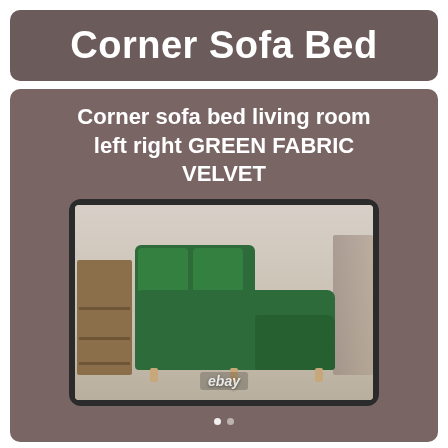Corner Sofa Bed
Corner sofa bed living room left right GREEN FABRIC VELVET
[Figure (photo): A green velvet corner sofa bed displayed in a modern living room setting, shown on an eBay product listing image]